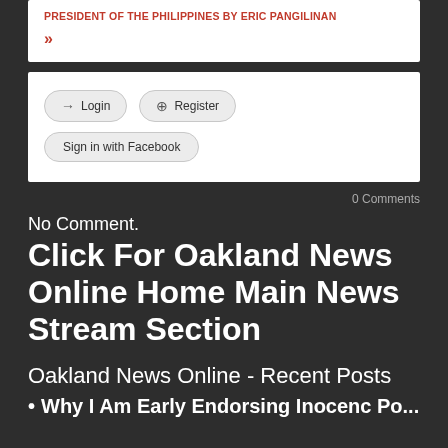PRESIDENT OF THE PHILIPPINES BY ERIC PANGILINAN
»
[Figure (screenshot): Login/Register widget with buttons: Login, Register, Sign in with Facebook]
0 Comments
No Comment.
Click For Oakland News Online Home Main News Stream Section
Oakland News Online - Recent Posts
Why I Am Early Endorsing Inocenc Po...